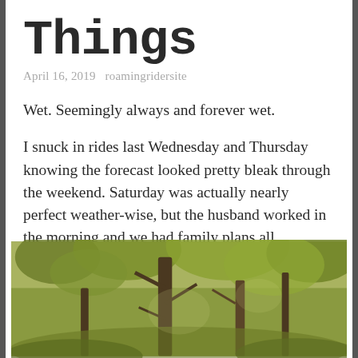Things
April 16, 2019   roamingridersite
Wet. Seemingly always and forever wet.
I snuck in rides last Wednesday and Thursday knowing the forecast looked pretty bleak through the weekend. Saturday was actually nearly perfect weather-wise, but the husband worked in the morning and we had family plans all afternoon and into the evening. It was a great time.
[Figure (photo): Outdoor forest/woods scene with trees and green foliage, muted olive-green tones]